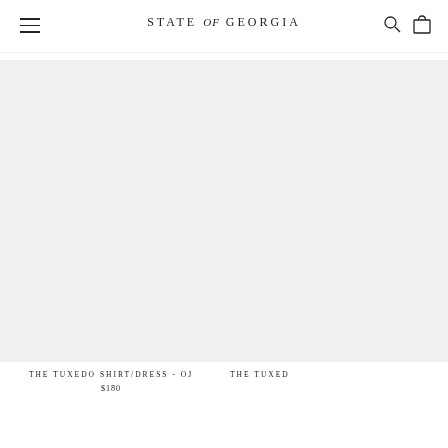STATE of GEORGIA
[Figure (photo): Product image placeholder for THE TUXEDO SHIRT/DRESS - OJ, light grey background]
THE TUXEDO SHIRT/DRESS - OJ
$180
[Figure (photo): Partially visible product image placeholder for second tuxedo shirt/dress product, cropped on right edge]